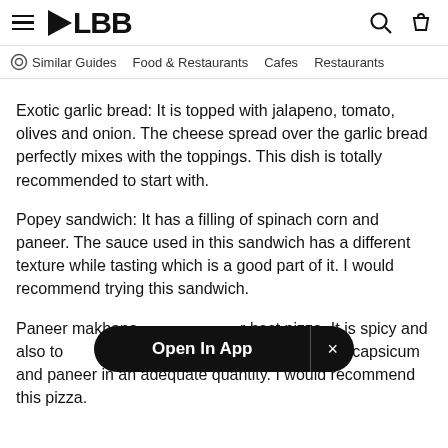≡ LBB [search] [bag]
Similar Guides   Food & Restaurants   Cafes   Restaurants
Exotic garlic bread: It is topped with jalapeno, tomato, olives and onion. The cheese spread over the garlic bread perfectly mixes with the toppings. This dish is totally recommended to start with.
Popey sandwich: It has a filling of spinach corn and paneer. The sauce used in this sandwich has a different texture while tasting which is a good part of it. I would recommend trying this sandwich.
Paneer makhana [Open In App ×] best pizza. It is spicy and also to[pped in generous p]ieces. It is also topped with capsicum and paneer in an adequate quantity. I would recommend this pizza.